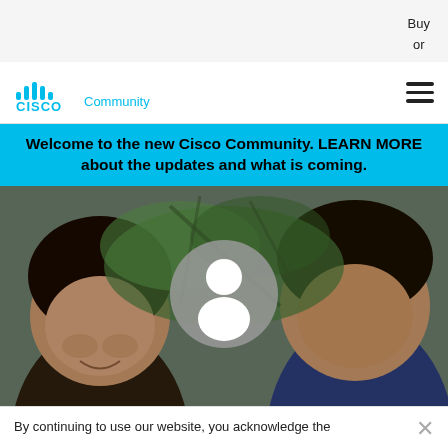Buy
or
[Figure (logo): Cisco Community logo with stylized bar chart icon and text 'CISCO Community' in blue]
Welcome to the new Cisco Community. LEARN MORE about the updates and what is coming.
[Figure (photo): Two people smiling and looking down, with a generic user avatar icon overlaid in the center]
By continuing to use our website, you acknowledge the